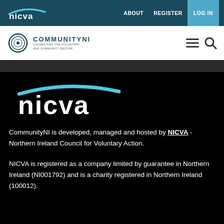[Figure (logo): NICVA logo in white on dark teal navigation bar, with 'nicva' text and a curved blue arc above]
ABOUT   REGISTER   LOG IN
[Figure (logo): CommunityNI logo with circular ring icon and text 'COMMUNITYNI - CONNECTING THE VOLUNTARY AND COMMUNITY SECTOR']
[Figure (logo): Large NICVA logo in white with cyan arc on black background]
CommunityNI is developed, managed and hosted by NICVA - Northern Ireland Council for Voluntary Action.
NICVA is registered as a company limited by guarantee in Northern Ireland (NI001792) and is a charity registered in Northern Ireland (100012).